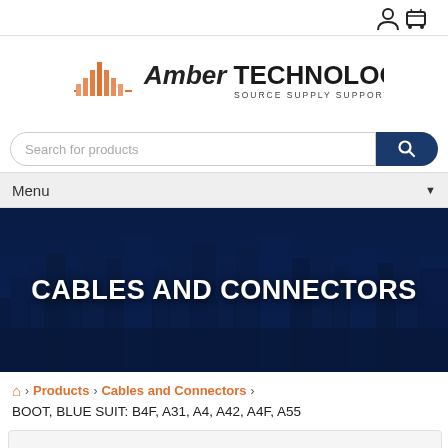[navigation icons: user, cart]
[Figure (logo): Amber Technology logo with orange waveform graphic and text 'Amber TECHNOLOGY · SOURCE SUPPLY SUPPORT']
Search for products
Menu
CABLES AND CONNECTORS
Home > Products > Cables and Connectors >
BOOT, BLUE SUIT: B4F, A31, A4, A42, A4F, A55